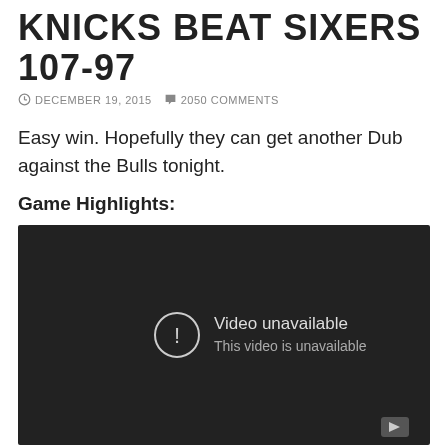KNICKS BEAT SIXERS 107-97
DECEMBER 19, 2015   2050 COMMENTS
Easy win. Hopefully they can get another Dub against the Bulls tonight.
Game Highlights:
[Figure (screenshot): Video player showing 'Video unavailable - This video is unavailable' message on dark background]